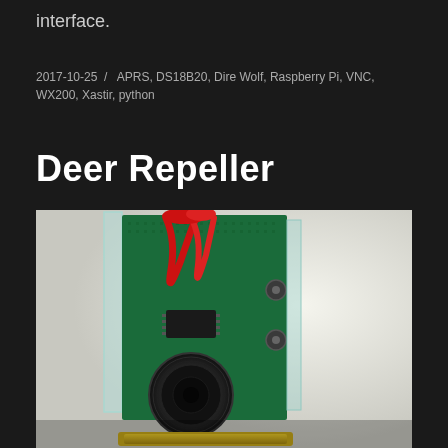interface.
2017-10-25 / APRS, DS18B20, Dire Wolf, Raspberry Pi, VNC, WX200, Xastir, python
Deer Repeller
[Figure (photo): A deer repeller electronic device showing a green PCB circuit board mounted on an acrylic frame, with red wires, a black buzzer/speaker, and a yellow battery at the bottom.]